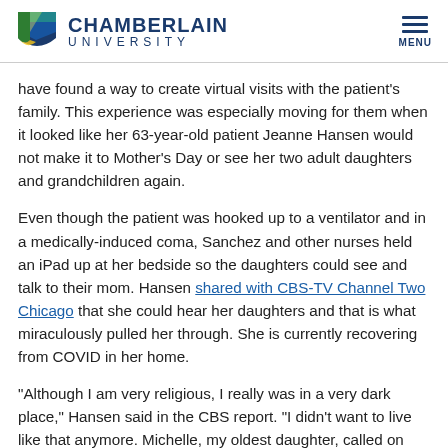CHAMBERLAIN UNIVERSITY
have found a way to create virtual visits with the patient's family. This experience was especially moving for them when it looked like her 63-year-old patient Jeanne Hansen would not make it to Mother's Day or see her two adult daughters and grandchildren again.
Even though the patient was hooked up to a ventilator and in a medically-induced coma, Sanchez and other nurses held an iPad up at her bedside so the daughters could see and talk to their mom. Hansen shared with CBS-TV Channel Two Chicago that she could hear her daughters and that is what miraculously pulled her through. She is currently recovering from COVID in her home.
"Although I am very religious, I really was in a very dark place," Hansen said in the CBS report. "I didn't want to live like that anymore. Michelle, my oldest daughter, called on FaceTime. She